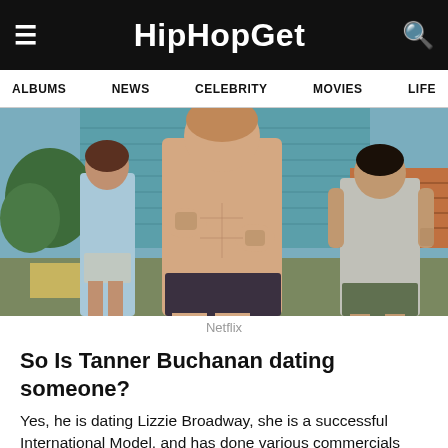HipHopGet
ALBUMS  NEWS  CELEBRITY  MOVIES  LIFE
[Figure (photo): Scene from a Netflix show with three young people outdoors. A shirtless teenage boy with reddish-brown hair stands in the center in a fighting stance. A girl in a light blue tank top stands to the left. A boy in a grey t-shirt stands to the right. Background shows a blue house and tiled roof.]
Netflix
So Is Tanner Buchanan dating someone?
Yes, he is dating Lizzie Broadway, she is a successful International Model, and has done various commercials